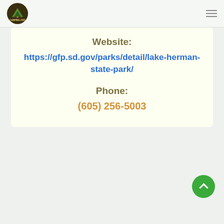Camping.org navigation header with logo and hamburger menu
Website:
https://gfp.sd.gov/parks/detail/lake-herman-state-park/
Phone:
(605) 256-5003